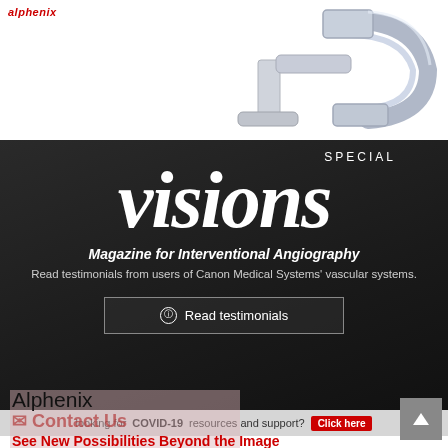[Figure (photo): Medical angiography C-arm system / X-ray machine on white background, partially visible at top]
SPECIAL visions
Magazine for Interventional Angiography
Read testimonials from users of Canon Medical Systems' vascular systems.
Read testimonials
Looking for COVID-19 resources and support? Click here
Alphenix
Contact Us
See New Possibilities Beyond the Image